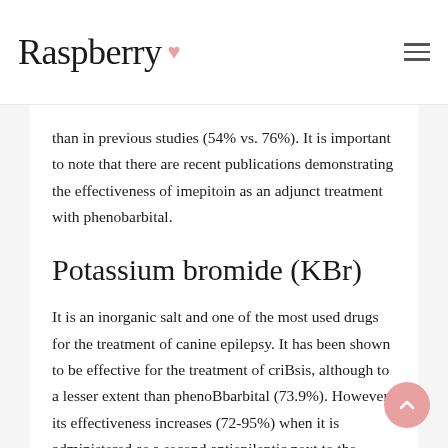Raspberry
than in previous studies (54% vs. 76%). It is important to note that there are recent publications demonstrating the effectiveness of imepitoin as an adjunct treatment with phenobarbital.
Potassium bromide (KBr)
It is an inorganic salt and one of the most used drugs for the treatment of canine epilepsy. It has been shown to be effective for the treatment of criBsis, although to a lesser extent than phenoBbarbital (73.9%). However, its effectiveness increases (72-95%) when it is administered as a second antiepileptic next to the phenobarbital in the event that crises cannot be